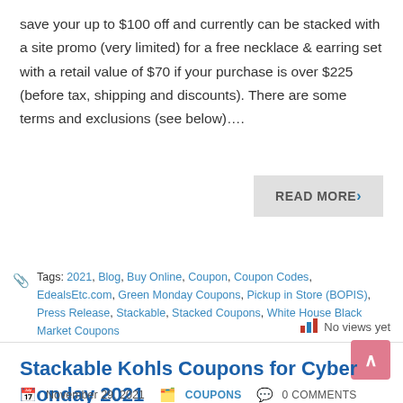save your up to $100 off and currently can be stacked with a site promo (very limited) for a free necklace & earring set with a retail value of $70 if your purchase is over $225 (before tax, shipping and discounts). There are some terms and exclusions (see below)….
READ MORE›
Tags: 2021, Blog, Buy Online, Coupon, Coupon Codes, EdealsEtc.com, Green Monday Coupons, Pickup in Store (BOPIS), Press Release, Stackable, Stacked Coupons, White House Black Market Coupons
No views yet
Stackable Kohls Coupons for Cyber Monday 2021
November 29, 2021   COUPONS   0 COMMENTS